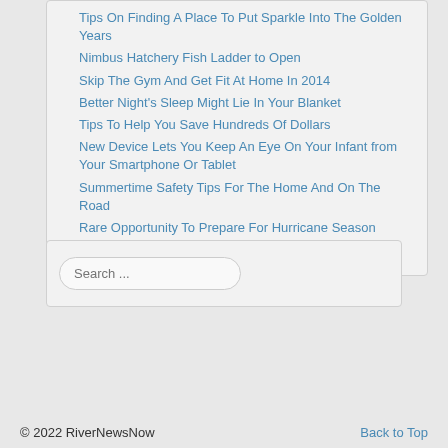Tips On Finding A Place To Put Sparkle Into The Golden Years
Nimbus Hatchery Fish Ladder to Open
Skip The Gym And Get Fit At Home In 2014
Better Night's Sleep Might Lie In Your Blanket
Tips To Help You Save Hundreds Of Dollars
New Device Lets You Keep An Eye On Your Infant from Your Smartphone Or Tablet
Summertime Safety Tips For The Home And On The Road
Rare Opportunity To Prepare For Hurricane Season
Plant15 Marks Five Years For High Oleic
Search ...
© 2022 RiverNewsNow   Back to Top